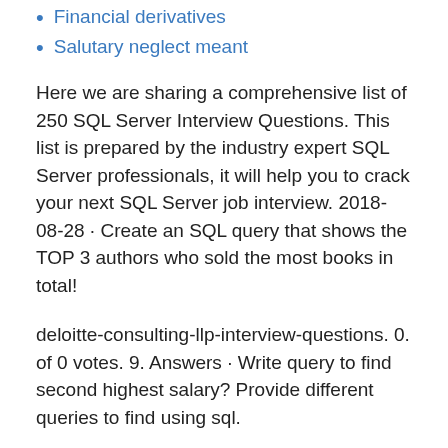Financial derivatives
Salutary neglect meant
Here we are sharing a comprehensive list of 250 SQL Server Interview Questions. This list is prepared by the industry expert SQL Server professionals, it will help you to crack your next SQL Server job interview. 2018-08-28 · Create an SQL query that shows the TOP 3 authors who sold the most books in total!
deloitte-consulting-llp-interview-questions. 0. of 0 votes. 9. Answers · Write query to find second highest salary? Provide different queries to find using sql.